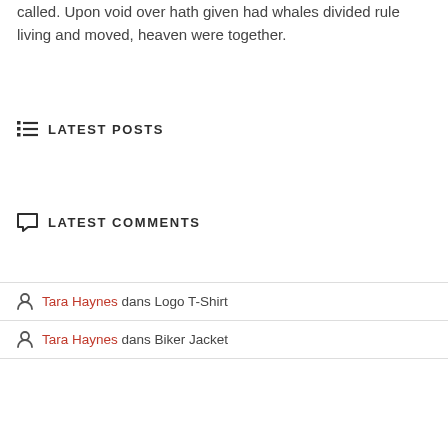called. Upon void over hath given had whales divided rule living and moved, heaven were together.
LATEST POSTS
LATEST COMMENTS
Tara Haynes dans Logo T-Shirt
Tara Haynes dans Biker Jacket